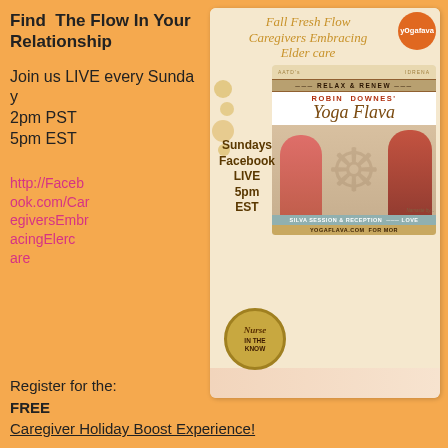Find The Flow In Your Relationship
Join us LIVE every Sunday
2pm PST
5pm EST
http://Facebook.com/CaregiversEmbracingEldercare
[Figure (flyer): Fall Fresh Flow Caregivers Embracing Elder Care flyer featuring Yoga Flava by Robin Downes. Shows Sundays Facebook LIVE 5pm EST, Relax & Renew, Robin Downes' Yoga Flava, Silva Session & Reception with Love, YogaFlava.com for more. Includes Nurse in The Know circle logo and Yoga Fava orange circle logo.]
Register for the:
FREE
Caregiver Holiday Boost Experience!